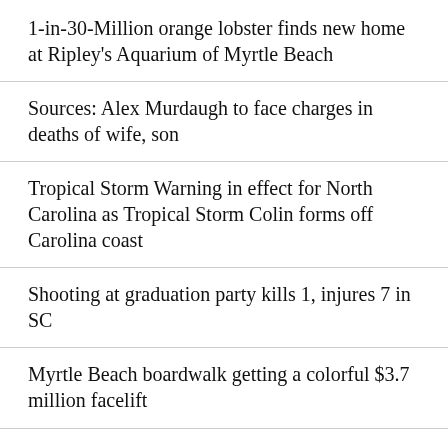1-in-30-Million orange lobster finds new home at Ripley's Aquarium of Myrtle Beach
Sources: Alex Murdaugh to face charges in deaths of wife, son
Tropical Storm Warning in effect for North Carolina as Tropical Storm Colin forms off Carolina coast
Shooting at graduation party kills 1, injures 7 in SC
Myrtle Beach boardwalk getting a colorful $3.7 million facelift